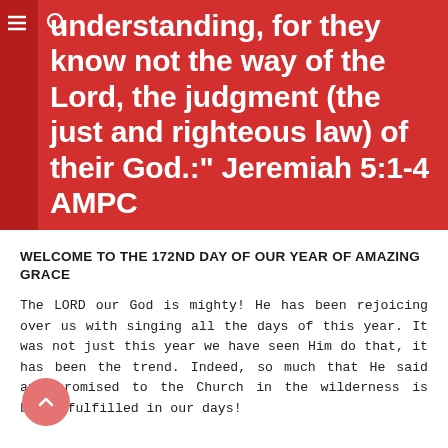[Figure (screenshot): Red banner with white bold text quoting Jeremiah 5:1-4 AMPC, showing partial verse continuation. Left side has dark red bar and navigation hamburger icon plus search icon.]
WELCOME TO THE 172ND DAY OF OUR YEAR OF AMAZING GRACE
The LORD our God is mighty! He has been rejoicing over us with singing all the days of this year. It was not just this year we have seen Him do that, it has been the trend. Indeed, so much that He said and promised to the Church in the wilderness is being fulfilled in our days!